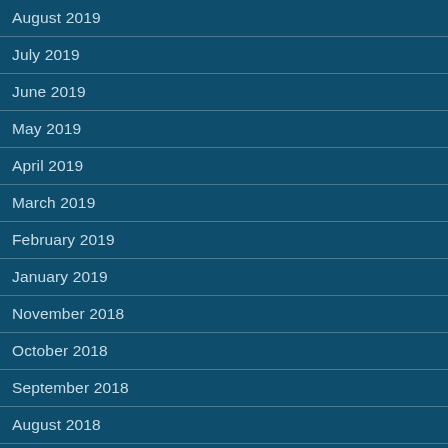August 2019
July 2019
June 2019
May 2019
April 2019
March 2019
February 2019
January 2019
November 2018
October 2018
September 2018
August 2018
May 2018